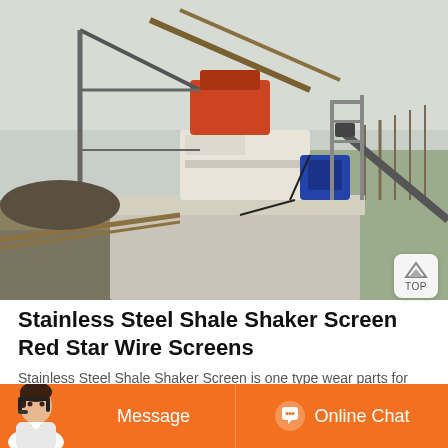[Figure (photo): Industrial shale shaker screening equipment mounted on a concrete platform outdoors, with metal framework, conveyor belts, machinery components, and a blue motor unit visible. Rural/industrial background with bare trees and overcast sky.]
Stainless Steel Shale Shaker Screen Red Star Wire Screens
Stainless Steel Shale Shaker Screen is one type wear parts for shale shaker and mud cleaner. The screen panel is constructed with two or three stainless steel mesh layers bonded to a
Message  Online Chat